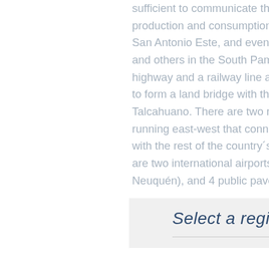sufficient to communicate the main centers of production and consumption with the ports of San Antonio Este, and even with Bahia Blanca and others in the South Pampa región. Both a highway and a railway line are being prepared to form a land bridge with the Chilean port of Talcahuano. There are two railway lines running east-west that connect in Bahia Blanca with the rest of the country´s network. There are two international airports (Bariloche and Neuquén), and 4 public paved airstrips.
Select a region